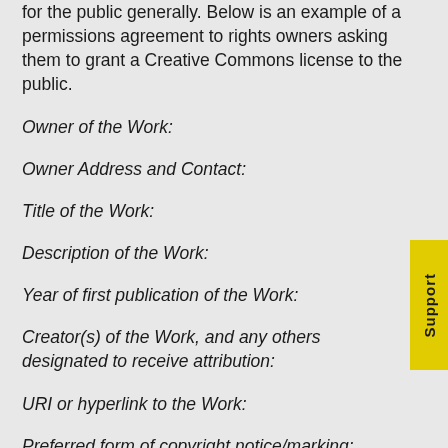for the public generally. Below is an example of a permissions agreement to rights owners asking them to grant a Creative Commons license to the public.
Owner of the Work:
Owner Address and Contact:
Title of the Work:
Description of the Work:
Year of first publication of the Work:
Creator(s) of the Work, and any others designated to receive attribution:
URI or hyperlink to the Work:
Preferred form of copyright notice/marking:
I, the rights owner for the Work(s) set forth